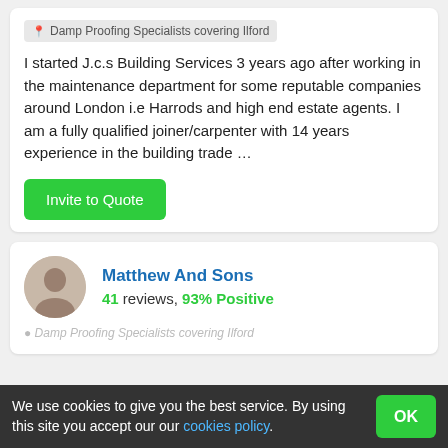Damp Proofing Specialists covering Ilford
I started J.c.s Building Services 3 years ago after working in the maintenance department for some reputable companies around London i.e Harrods and high end estate agents. I am a fully qualified joiner/carpenter with 14 years experience in the building trade ...
Invite to Quote
Matthew And Sons
41 reviews, 93% Positive
We use cookies to give you the best service. By using this site you accept our our cookies policy.